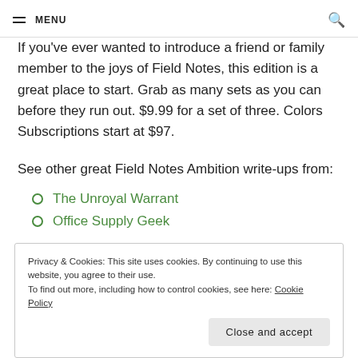MENU
If you've ever wanted to introduce a friend or family member to the joys of Field Notes, this edition is a great place to start. Grab as many sets as you can before they run out. $9.99 for a set of three. Colors Subscriptions start at $97.
See other great Field Notes Ambition write-ups from:
The Unroyal Warrant
Office Supply Geek
Privacy & Cookies: This site uses cookies. By continuing to use this website, you agree to their use.
To find out more, including how to control cookies, see here: Cookie Policy
Close and accept